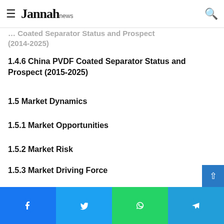Jannah news — navigation bar with hamburger menu and search icon
… Coated Separator Status and Prospect (2014-2025)
1.4.6 China PVDF Coated Separator Status and Prospect (2015-2025)
1.5 Market Dynamics
1.5.1 Market Opportunities
1.5.2 Market Risk
1.5.3 Market Driving Force
1.5.4 Porter's Five Forces Analysis